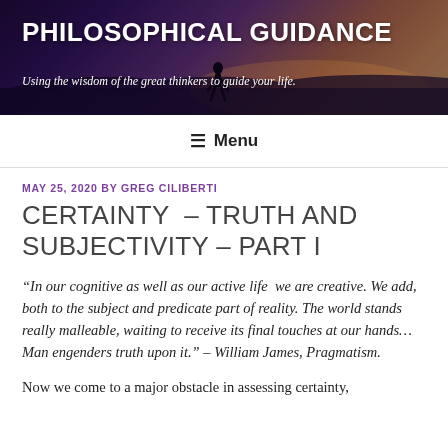[Figure (photo): Website header banner with a dark purple to warm orange gradient background showing a silhouette of a person standing on a rock. Contains site title 'PHILOSOPHICAL GUIDANCE' and subtitle 'Using the wisdom of the great thinkers to guide your life.']
PHILOSOPHICAL GUIDANCE
Using the wisdom of the great thinkers to guide your life.
≡ Menu
MAY 25, 2020 BY GREG CILIBERTI
CERTAINTY – TRUTH AND SUBJECTIVITY – PART I
“In our cognitive as well as our active life we are creative. We add, both to the subject and predicate part of reality. The world stands really malleable, waiting to receive its final touches at our hands...Man engenders truth upon it.” – William James, Pragmatism.
Now we come to a major obstacle in assessing certainty,